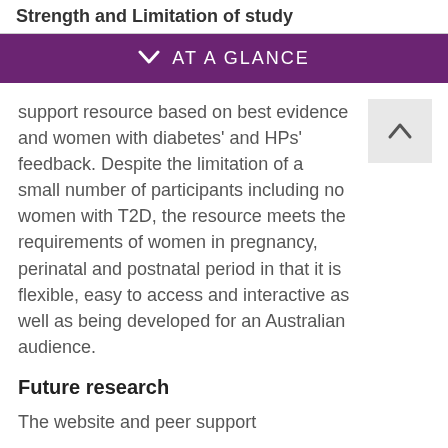Strength and Limitation of study
AT A GLANCE
support resource based on best evidence and women with diabetes' and HPs' feedback. Despite the limitation of a small number of participants including no women with T2D, the resource meets the requirements of women in pregnancy, perinatal and postnatal period in that it is flexible, easy to access and interactive as well as being developed for an Australian audience.
Future research
The website and peer support